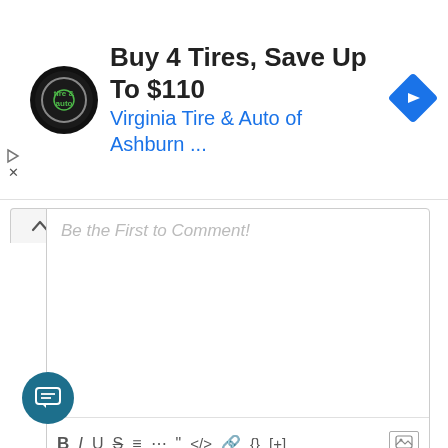[Figure (screenshot): Advertisement banner: logo for Virginia Tire & Auto (circular black and grey logo), headline 'Buy 4 Tires, Save Up To $110', subheadline 'Virginia Tire & Auto of Ashburn ...', blue diamond navigation arrow icon on the right. Small play and X controls on left edge.]
[Figure (screenshot): Comment input box with placeholder text 'Be the First to Comment!' and a formatting toolbar with B, I, U, S, ordered list, unordered list, blockquote, code, link, curly braces, [+], and image icon buttons.]
0 COMMENTS
[Figure (infographic): Two tab icons: a yellow lightning bolt and an orange flame, above a progress bar that goes from orange on the left to grey on the right.]
[Figure (screenshot): Teal circular chat button at bottom left with a white chat icon.]